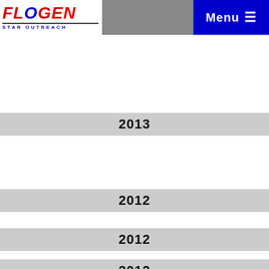FLOGEN STAR OUTREACH | Menu
2013
2012
2012
2012